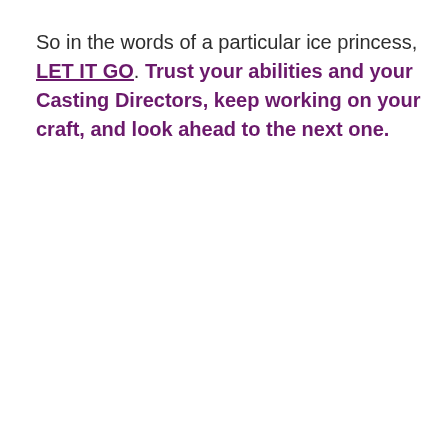So in the words of a particular ice princess, LET IT GO. Trust your abilities and your Casting Directors, keep working on your craft, and look ahead to the next one.